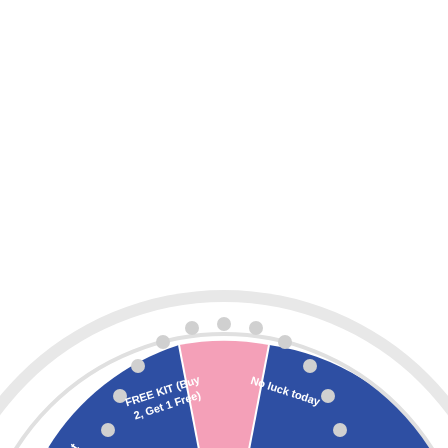[Figure (other): A prize spinning wheel (partially visible, bottom half shown) with colored segments: pink (FREE SHIPPING), dark blue (Almost), light blue (FREE KIT Buy 2 Get 1 Free), yellow (No luck today), pink (20%), pink (50% OFF), dark blue (Sorry!), light blue (30% OFF), yellow (nothing). The wheel has a white outer ring with decorative pegs, a central pink character mascot, and a pink pointer arrow on the right side.]